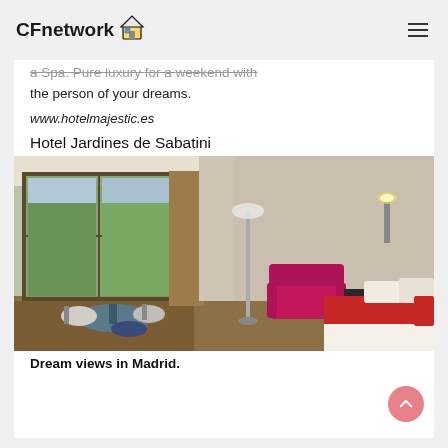CFnetwork
a Spa. Pure luxury for a weekend with the person of your dreams.
www.hotelmajestic.es
Hotel Jardines de Sabatini
[Figure (photo): Hotel room with large windows showing garden views, magenta/pink armchair and red bedding]
Dream views in Madrid.